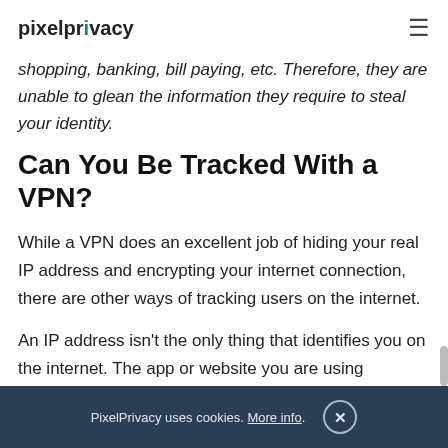pixelprivacy
shopping, banking, bill paying, etc. Therefore, they are unable to glean the information they require to steal your identity.
Can You Be Tracked With a VPN?
While a VPN does an excellent job of hiding your real IP address and encrypting your internet connection, there are other ways of tracking users on the internet.
An IP address isn't the only thing that identifies you on the internet. The app or website you are using
PixelPrivacy uses cookies. More info.